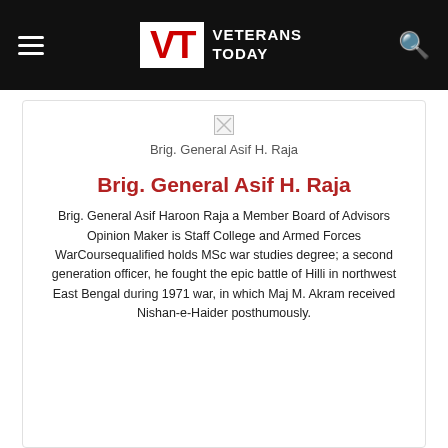Veterans Today
[Figure (photo): Broken image placeholder for Brig. General Asif H. Raja]
Brig. General Asif H. Raja
Brig. General Asif H. Raja
Brig. General Asif Haroon Raja a Member Board of Advisors Opinion Maker is Staff College and Armed Forces WarCoursequalified holds MSc war studies degree; a second generation officer, he fought the epic battle of Hilli in northwest East Bengal during 1971 war, in which Maj M. Akram received Nishan-e-Haider posthumously.